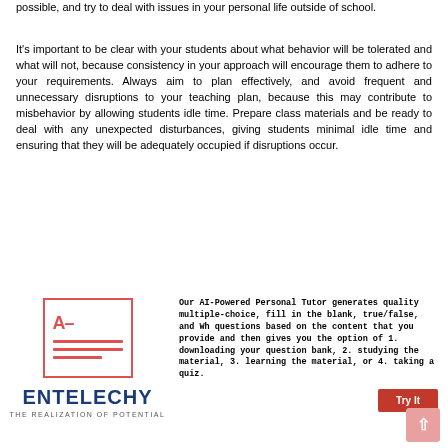possible, and try to deal with issues in your personal life outside of school.
It's important to be clear with your students about what behavior will be tolerated and what will not, because consistency in your approach will encourage them to adhere to your requirements. Always aim to plan effectively, and avoid frequent and unnecessary disruptions to your teaching plan, because this may contribute to misbehavior by allowing students idle time. Prepare class materials and be ready to deal with any unexpected disturbances, giving students minimal idle time and ensuring that they will be adequately occupied if disruptions occur.
[Figure (logo): Entelechy logo with a grade card icon (A-) and red horizontal lines, company name ENTELECHY in dark blue bold, tagline THE REALIZATION OF POTENTIAL]
Our AI-Powered Personal Tutor generates quality multiple-choice, fill in the blank, true/false, and Wh questions based on the content that you provide and then gives you the option of 1. downloading your question bank, 2. studying the material, 3. learning the material, or 4. taking a quiz.
Try It